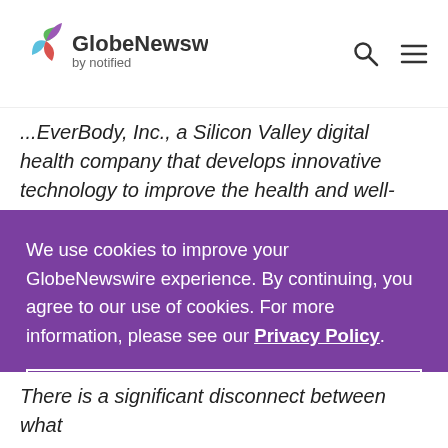GlobeNewswire by notified
...EverBody, Inc., a Silicon Valley digital health company that develops innovative technology to improve the health and well-being of seniors and...
We use cookies to improve your GlobeNewswire experience. By continuing, you agree to our use of cookies. For more information, please see our Privacy Policy.
ACCEPT
There is a significant disconnect between what